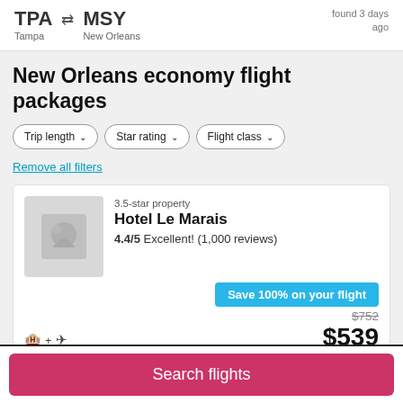TPA Tampa → MSY New Orleans found 3 days ago
New Orleans economy flight packages
Trip length ∨   Star rating ∨   Flight class ∨
Remove all filters
3.5-star property
Hotel Le Marais
4.4/5 Excellent! (1,000 reviews)
Save 100% on your flight
$752
🏨 + ✈ Includes roundtrip flight and 3 night stay Oct 13 - Oct 16
$539 per person
Search flights